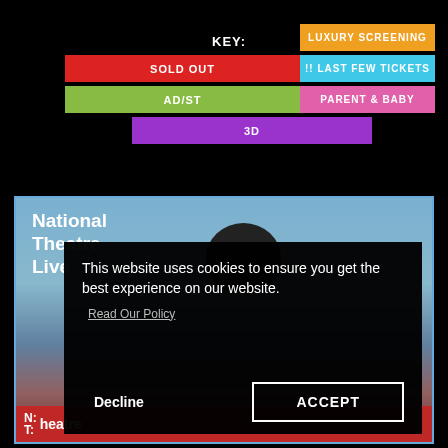KEY:
LUXURY SCREENING
SOLD OUT
!! LAST FEW TICKETS
AD/ST
PARENT & BABY
3D
[Figure (screenshot): National Theatre Live website screenshot with cookie consent overlay. The background shows an NTL promotional image with a figure against a blue sky. A black cookie consent dialog reads: 'This website uses cookies to ensure you get the best experience on our website. Read Our Policy' with Decline and ACCEPT buttons.]
This website uses cookies to ensure you get the best experience on our website.
Read Our Policy
Decline
ACCEPT